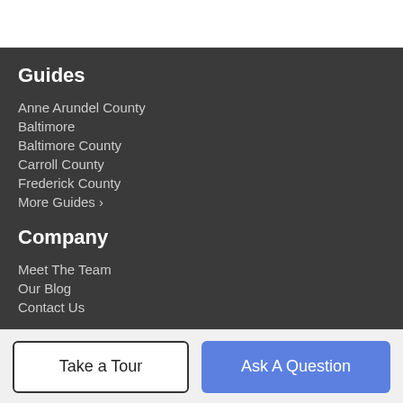Guides
Anne Arundel County
Baltimore
Baltimore County
Carroll County
Frederick County
More Guides >
Company
Meet The Team
Our Blog
Contact Us
Take a Tour
Ask A Question